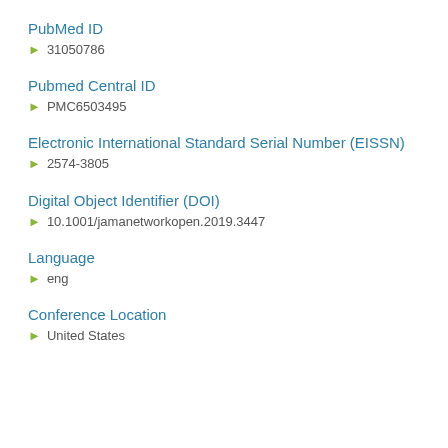PubMed ID
31050786
Pubmed Central ID
PMC6503495
Electronic International Standard Serial Number (EISSN)
2574-3805
Digital Object Identifier (DOI)
10.1001/jamanetworkopen.2019.3447
Language
eng
Conference Location
United States